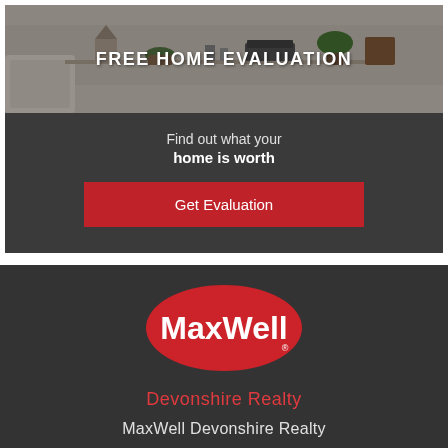[Figure (photo): Hero image of a bright living room/home interior with plants and decorative items on shelves, with overlay text FREE HOME EVALUATION]
FREE HOME EVALUATION
Find out what your home is worth
Get Evaluation
[Figure (logo): MaxWell Devonshire Realty logo — red oval with white MaxWell text and red Devonshire Realty text below]
MaxWell Devonshire Realty